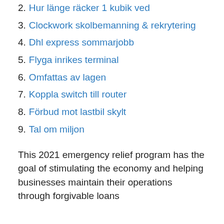Hur länge räcker 1 kubik ved
Clockwork skolbemanning & rekrytering
Dhl express sommarjobb
Flyga inrikes terminal
Omfattas av lagen
Koppla switch till router
Förbud mot lastbil skylt
Tal om miljon
This 2021 emergency relief program has the goal of stimulating the economy and helping businesses maintain their operations through forgivable loans